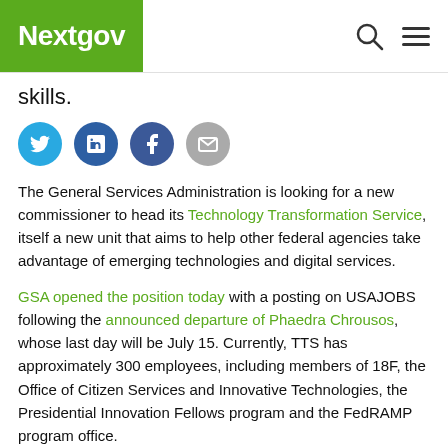Nextgov
skills.
[Figure (infographic): Social sharing icons: Twitter (blue circle), LinkedIn (dark blue circle), Facebook (dark blue circle), Email (grey circle)]
The General Services Administration is looking for a new commissioner to head its Technology Transformation Service, itself a new unit that aims to help other federal agencies take advantage of emerging technologies and digital services.
GSA opened the position today with a posting on USAJOBS following the announced departure of Phaedra Chrousos, whose last day will be July 15. Currently, TTS has approximately 300 employees, including members of 18F, the Office of Citizen Services and Innovative Technologies, the Presidential Innovation Fellows program and the FedRAMP program office.
At its core, TTS' mission is to improve the public's experience dealing with government, and GSA makes clear in its job